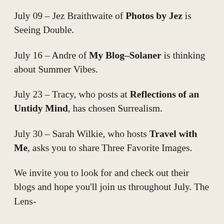July 09 – Jez Braithwaite of Photos by Jez is Seeing Double.
July 16 – Andre of My Blog–Solaner is thinking about Summer Vibes.
July 23 – Tracy, who posts at Reflections of an Untidy Mind, has chosen Surrealism.
July 30 – Sarah Wilkie, who hosts Travel with Me, asks you to share Three Favorite Images.
We invite you to look for and check out their blogs and hope you'll join us throughout July. The Lens-